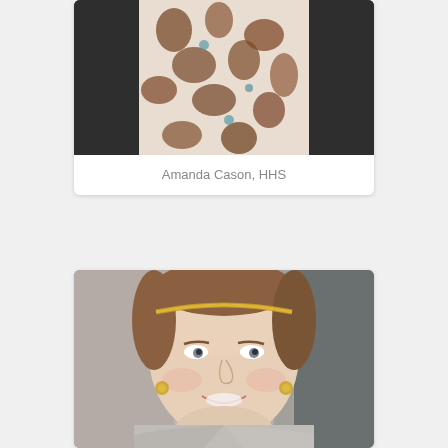[Figure (photo): Partial photo of Amanda Cason showing torso with a patterned scarf and dark jacket, cropped at top]
Amanda Cason, HHS
[Figure (photo): Portrait photo of a smiling woman with auburn hair pulled back with a gold braided headband, wearing a grey blazer and gold earrings, blurred background]